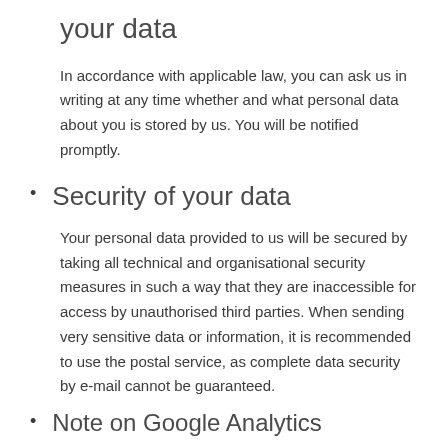your data
In accordance with applicable law, you can ask us in writing at any time whether and what personal data about you is stored by us. You will be notified promptly.
Security of your data
Your personal data provided to us will be secured by taking all technical and organisational security measures in such a way that they are inaccessible for access by unauthorised third parties. When sending very sensitive data or information, it is recommended to use the postal service, as complete data security by e-mail cannot be guaranteed.
Note on Google Analytics
Google Analytics uses a number of Google's...